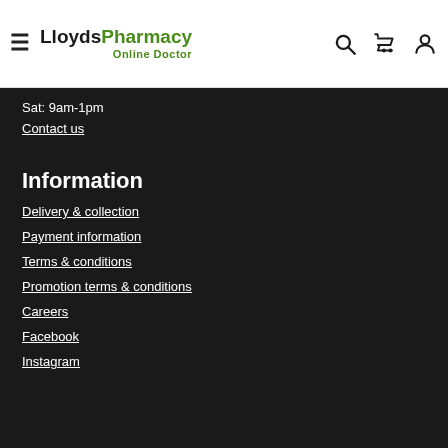LloydsPharmacy Online Doctor — Navigation header with hamburger menu, logo, search, cart, and account icons
Sat: 9am-1pm
Contact us
Information
Delivery & collection
Payment information
Terms & conditions
Promotion terms & conditions
Careers
Facebook
Instagram